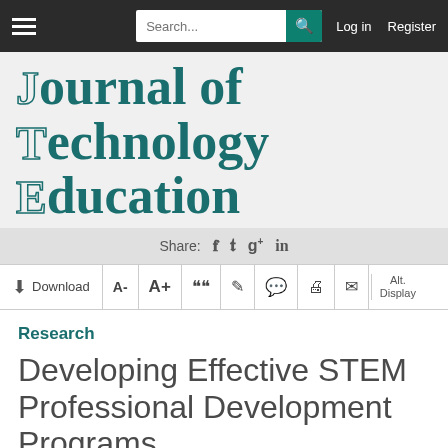[Figure (screenshot): Website navigation bar with hamburger menu, search box, Log in and Register links]
Journal of Technology Education
[Figure (screenshot): Social share bar with Facebook, Twitter, Google+, LinkedIn icons]
[Figure (screenshot): Toolbar with Download, A-, A+, quote, edit, comment, print, email, Alt Display buttons]
Research
Developing Effective STEM Professional Development Programs
Authors: Zanj K. Avery, Edward M. Reeve
Abstract